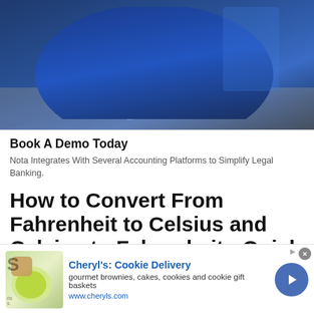[Figure (photo): Person in blue shirt writing/working at a desk with a laptop, mouse, and papers, in an office setting.]
Book A Demo Today
Nota Integrates With Several Accounting Platforms to Simplify Legal Banking.
OPEN
Ad
How to Convert From Fahrenheit to Celsius and Celsius to Fahrenheit - Quick and Easy Method
How to Convert From Fahrenheit to C...
No compatible source was found for this media.
Cheryl's: Cookie Delivery
gourmet brownies, cakes, cookies and cookie gift baskets
www.cheryls.com